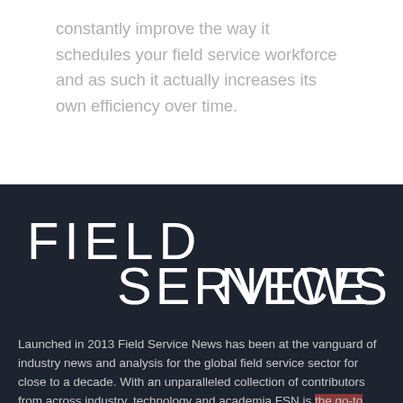constantly improve the way it schedules your field service workforce and as such it actually increases its own efficiency over time.
[Figure (logo): Field Service News logo in white text on dark navy background]
Launched in 2013 Field Service News has been at the vanguard of industry news and analysis for the global field service sector for close to a decade. With an unparalleled collection of contributors from across industry, technology and academia FSN is the go-to